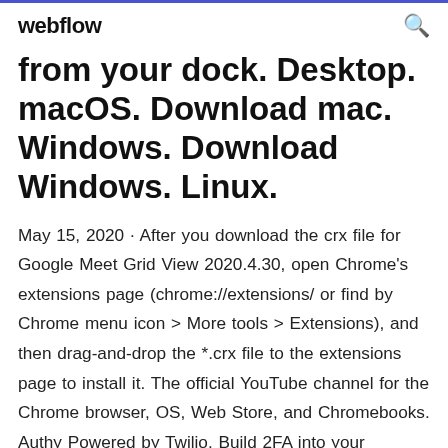webflow
from your dock. Desktop. macOS. Download mac. Windows. Download Windows. Linux.
May 15, 2020 · After you download the crx file for Google Meet Grid View 2020.4.30, open Chrome's extensions page (chrome://extensions/ or find by Chrome menu icon > More tools > Extensions), and then drag-and-drop the *.crx file to the extensions page to install it. The official YouTube channel for the Chrome browser, OS, Web Store, and Chromebooks. Authy Powered by Twilio. Build 2FA into your applications with Twilio APIs.